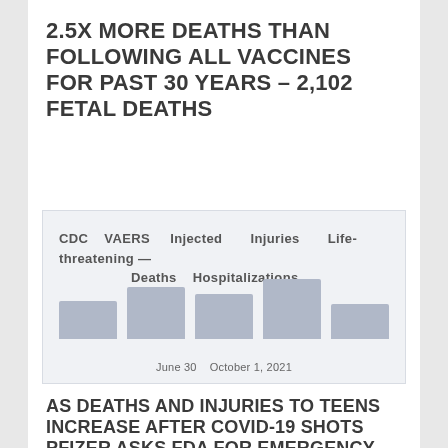2.5X MORE DEATHS THAN FOLLOWING ALL VACCINES FOR PAST 30 YEARS – 2,102 FETAL DEATHS
[Figure (other): Blurred/redacted screenshot of a CDC or government website table showing vaccine injury data with columns for reported injuries, deaths and other statistics. A date of October 1, 2021 is partially visible at the bottom.]
AS DEATHS AND INJURIES TO TEENS INCREASE AFTER COVID-19 SHOTS PFIZER ASKS FDA FOR EMERGENCY AUTHORIZATION TO